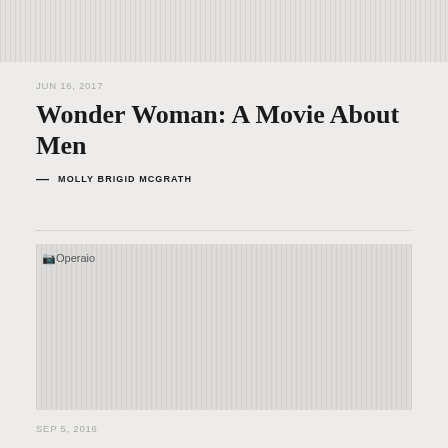[Figure (other): Top decorative striped banner]
JUN 16, 2017
Wonder Woman: A Movie About Men
— MOLLY BRIGID MCGRATH
[Figure (photo): Article image placeholder with striped pattern and 'Operaio' label]
SEP 5, 2016